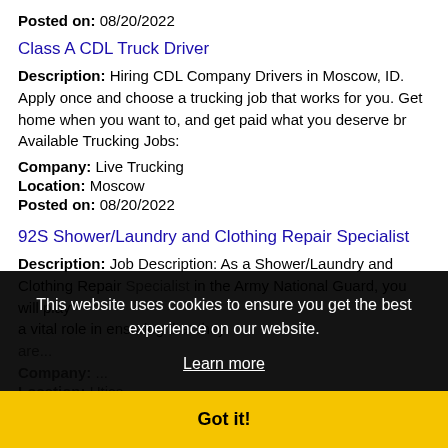Posted on: 08/20/2022
Class A CDL Truck Driver
Description: Hiring CDL Company Drivers in Moscow, ID. Apply once and choose a trucking job that works for you. Get home when you want to, and get paid what you deserve br Available Trucking Jobs:
Company: Live Trucking
Location: Moscow
Posted on: 08/20/2022
92S Shower/Laundry and Clothing Repair Specialist
Description: Job Description: As a Shower/Laundry and Clothing Repair Specialist in the Army National Guard, you will play a vital role... at they... Company: ... Location: Utica Posted on: 08/20/2022
Description: 300 Reasons to Apply: Work from home. Full opportunities available in your area. You can start tomorrow. br We are seeking candidates interested in working with
This website uses cookies to ensure you get the best experience on our website. Learn more Got it!